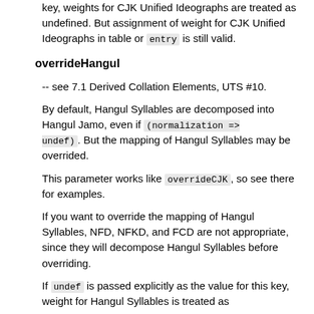key, weights for CJK Unified Ideographs are treated as undefined. But assignment of weight for CJK Unified Ideographs in table or entry is still valid.
overrideHangul
-- see 7.1 Derived Collation Elements, UTS #10.
By default, Hangul Syllables are decomposed into Hangul Jamo, even if (normalization => undef). But the mapping of Hangul Syllables may be overrided.
This parameter works like overrideCJK, so see there for examples.
If you want to override the mapping of Hangul Syllables, NFD, NFKD, and FCD are not appropriate, since they will decompose Hangul Syllables before overriding.
If undef is passed explicitly as the value for this key, weight for Hangul Syllables is treated as